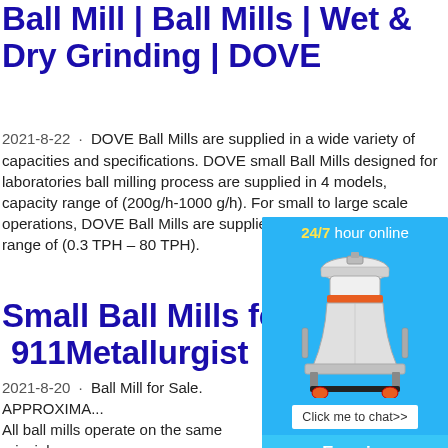Ball Mill | Ball Mills | Wet & Dry Grinding | DOVE
2021-8-22 · DOVE Ball Mills are supplied in a wide variety of capacities and specifications. DOVE small Ball Mills designed for laboratories ball milling process are supplied in 4 models, capacity range of (200g/h-1000 g/h). For small to large scale operations, DOVE Ball Mills are supplied in 17 models, capacity range of (0.3 TPH – 80 TPH).
Small Ball Mills for Sale | 911Metallurgist
2021-8-20 · Ball Mill for Sale. APPROXIMA... All ball mills operate on the same principles... principles is that the total weight of the cha... sum of the weight of the grinding media, the... material to be ground, and any water in the... of the percentage of the volume of the mill...
[Figure (illustration): Sidebar widget with blue background showing a cone crusher machine image, '24/7 hour online' text in yellow/white, 'Click me to chat>>' button, 'Enquiry' section, dashed divider, and 'limingjlmofen' text at bottom]
mining small ball mills f...